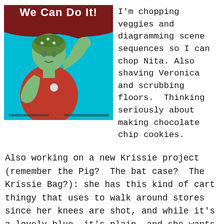[Figure (illustration): Rosie the Riveter 'We Can Do It!' poster with a green-tinted woman flexing her arm, teal background, dark red banner at top with white text 'We Can Do It!']
I'm chopping veggies and diagramming scene sequences so I can chop Nita. Also shaving Veronica and scrubbing floors.  Thinking seriously about making chocolate chip cookies.
Also working on a new Krissie project (remember the Pig?  The bat case?  The Krissie Bag?): she has this kind of cart thingy that uses to walk around stores since her knees are shot, and while it's a lovely blue, it's plain, and she wants fancy.  We discuss decorating, and it looks like a little kid's